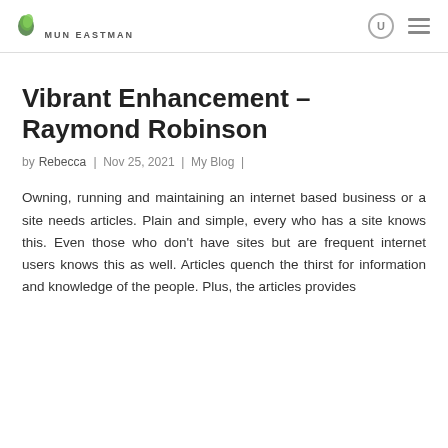[Figure (logo): Mun Eastman logo with green leaf icon and uppercase text]
Vibrant Enhancement – Raymond Robinson
by Rebecca | Nov 25, 2021 | My Blog |
Owning, running and maintaining an internet based business or a site needs articles. Plain and simple, every who has a site knows this. Even those who don't have sites but are frequent internet users knows this as well. Articles quench the thirst for information and knowledge of the people. Plus, the articles provides